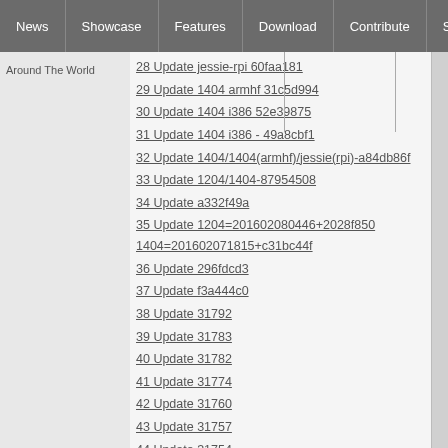News | Showcase | Features | Download | Contribute | Support
Around The World
28 Update jessie-rpi 60faa181
29 Update 1404 armhf 31c5d994
30 Update 1404 i386 52e39875
31 Update 1404 i386 - 49a8cbf1
32 Update 1404/1404(armhf)/jessie(rpi)-a84db86f
33 Update 1204/1404-87954508
34 Update a332f49a
35 Update 1204=201602080446+2028f850 1404=201602071815+c31bc44f
36 Update 296fdcd3
37 Update f3a444c0
38 Update 31792
39 Update 31783
40 Update 31782
41 Update 31774
42 Update 31760
43 Update 31757
44 Update 31754
45 Update 31752
46 Update 31750
47 Update 31744
48 Update 31742